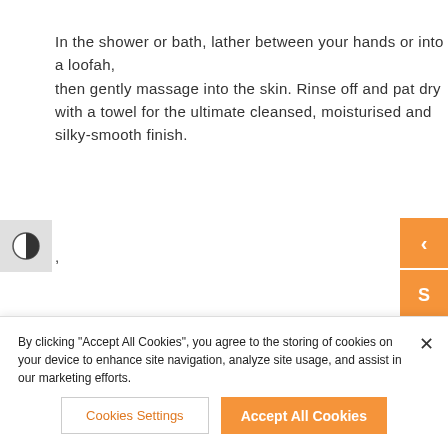In the shower or bath, lather between your hands or into a loofah, then gently massage into the skin. Rinse off and pat dry with a towel for the ultimate cleansed, moisturised and silky-smooth finish.
,
Watermelon Body Scrub
By clicking "Accept All Cookies", you agree to the storing of cookies on your device to enhance site navigation, analyze site usage, and assist in our marketing efforts.
Cookies Settings
Accept All Cookies